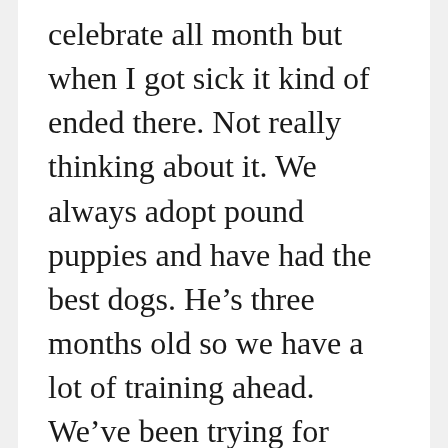celebrate all month but when I got sick it kind of ended there. Not really thinking about it. We always adopt pound puppies and have had the best dogs. He’s three months old so we have a lot of training ahead. We’ve been trying for three months to get a dog but the shelters are out of dogs as soon as they come in. That’s great as long as people keep them when they go back to work and don’t